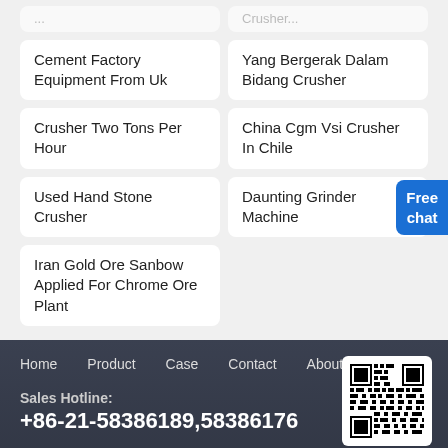Cement Factory Equipment From Uk
Yang Bergerak Dalam Bidang Crusher
Crusher Two Tons Per Hour
China Cgm Vsi Crusher In Chile
Used Hand Stone Crusher
Daunting Grinder Machine
Iran Gold Ore Sanbow Applied For Chrome Ore Plant
Free chat
Home   Product   Case   Contact   About
Sales Hotline:
+86-21-58386189,58386176
[Figure (other): QR code for contact]